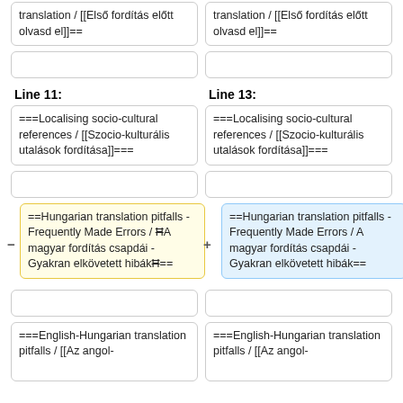translation / [[Első fordítás előtt olvasd el]]==
translation / [[Első fordítás előtt olvasd el]]==
(empty box)
(empty box)
Line 11:
Line 13:
===Localising socio-cultural references / [[Szocio-kulturális utalások fordítása]]===
===Localising socio-cultural references / [[Szocio-kulturális utalások fordítása]]===
(empty box)
(empty box)
==Hungarian translation pitfalls - Frequently Made Errors / ĦA magyar fordítás csapdái - Gyakran elkövetett hibákĦ==
==Hungarian translation pitfalls - Frequently Made Errors / A magyar fordítás csapdái - Gyakran elkövetett hibák==
(empty box)
(empty box)
===English-Hungarian translation pitfalls / [[Az angol-
===English-Hungarian translation pitfalls / [[Az angol-